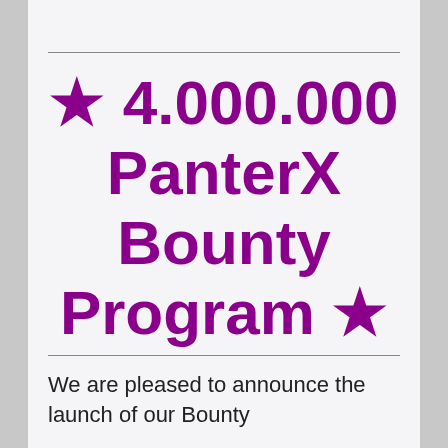★ 4.000.000 PanterX Bounty Program ★
We are pleased to announce the launch of our Bounty